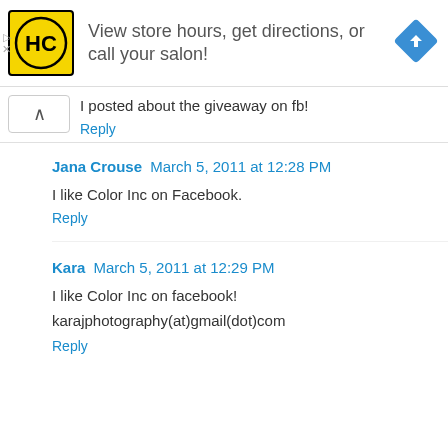[Figure (infographic): Advertisement banner with HC logo (yellow background, black circular logo with HC letters), text 'View store hours, get directions, or call your salon!', and a blue diamond navigation arrow icon on the right. Small play and close controls on the left edge.]
I posted about the giveaway on fb!
Reply
Jana Crouse March 5, 2011 at 12:28 PM
I like Color Inc on Facebook.
Reply
Kara March 5, 2011 at 12:29 PM
I like Color Inc on facebook!
karajphotography(at)gmail(dot)com
Reply